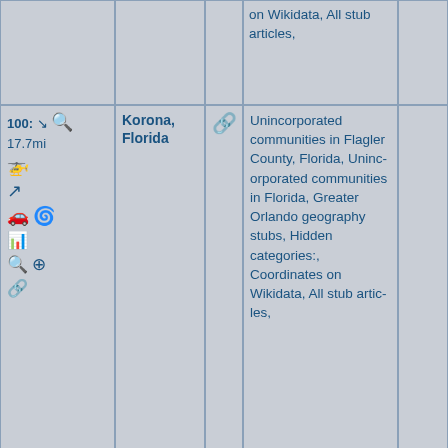| Controls | Name | Link | Categories | Extra |
| --- | --- | --- | --- | --- |
|  |  |  | on Wikidata, All stub articles, |  |
| 100: 17.7mi [icons] | Korona, Florida | [link] | Unincorporated communities in Flagler County, Florida, Unincorporated communities in Florida, Greater Orlando geography stubs, Hidden categories:, Coordinates on Wikidata, All stub articles, |  |
✓ More Searchable Fields
✓ About
[Figure (logo): TerraAtlas logo with golden text on dark stone/marble background with figure silhouettes on each side]